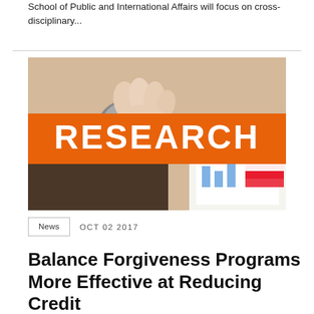School of Public and International Affairs will focus on cross-disciplinary...
[Figure (photo): A hand with a ring pressing on a computer mouse, on a desk, with an orange banner overlay reading RESEARCH in white bold text, and papers with charts visible in the lower right corner.]
News  OCT 02 2017
Balance Forgiveness Programs More Effective at Reducing Credit